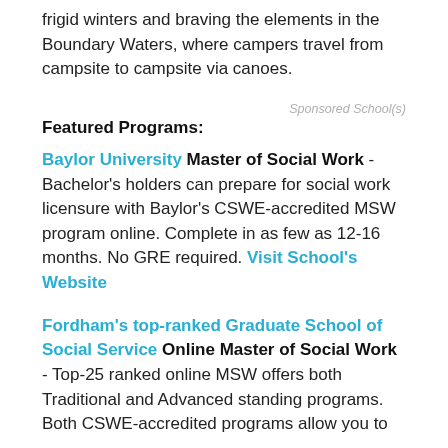frigid winters and braving the elements in the Boundary Waters, where campers travel from campsite to campsite via canoes.
Sponsored School(s)
Featured Programs:
Baylor University Master of Social Work - Bachelor's holders can prepare for social work licensure with Baylor's CSWE-accredited MSW program online. Complete in as few as 12-16 months. No GRE required. Visit School's Website
Fordham's top-ranked Graduate School of Social Service Online Master of Social Work - Top-25 ranked online MSW offers both Traditional and Advanced standing programs. Both CSWE-accredited programs allow you to